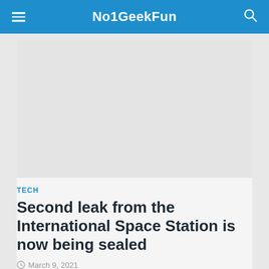No1GeekFun
[Figure (photo): Placeholder image area, light gray rectangle]
TECH
Second leak from the International Space Station is now being sealed
March 9, 2021